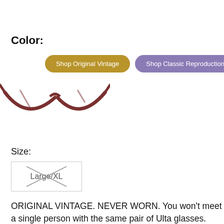Color:
[Figure (screenshot): Two pill-shaped buttons: 'Shop Original Vintage' (gold/olive color) and 'Shop Classic Reproductions' (purple color)]
[Figure (photo): Bottom portion of vintage eyeglasses frames with dark brownish-red acetate, showing the bottom rims of two round lenses]
Size:
Large/XL (with X cross-out overlay indicating unavailable/selected)
ORIGINAL VINTAGE. NEVER WORN. You won't meet a single person with the same pair of Ulta glasses. That's because every single pair of Ultra is one of a kind. Each frame takes 41 days to make - after the acetate material is cut, each frame is pressure-aged